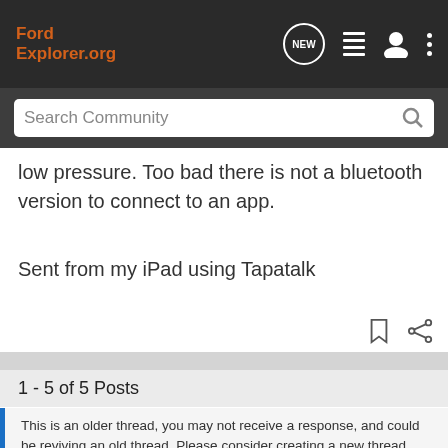FordExplorer.org
Search Community
low pressure. Too bad there is not a bluetooth version to connect to an app.
Sent from my iPad using Tapatalk
1 - 5 of 5 Posts
This is an older thread, you may not receive a response, and could be reviving an old thread. Please consider creating a new thread.
[Figure (infographic): Advertisement for Nitto ALL-NEW NOMAD GRAPPLER CROSSOVER-TERRAIN TIRE]